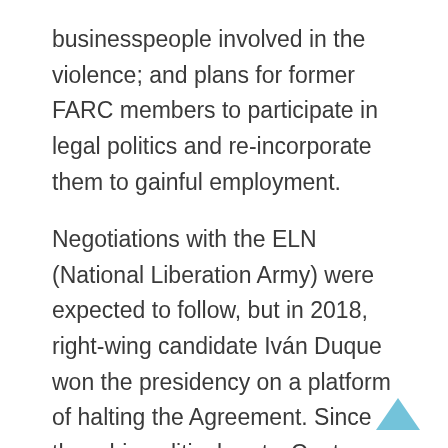businesspeople involved in the violence; and plans for former FARC members to participate in legal politics and re-incorporate them to gainful employment.
Negotiations with the ELN (National Liberation Army) were expected to follow, but in 2018, right-wing candidate Iván Duque won the presidency on a platform of halting the Agreement. Since then, his political party, Centro Democrático, has fought the Agreement with every political means possible. Consequently, broad sections of the peace deal remain